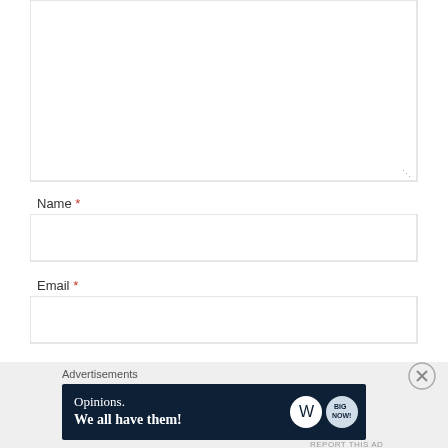[Figure (screenshot): Empty comment textarea input box with resize handle in bottom-right corner]
Name *
[Figure (screenshot): Empty name input field]
Email *
[Figure (screenshot): Empty email input field]
Advertisements
[Figure (screenshot): WordPress advertisement banner reading 'Opinions. We all have them!' with WordPress logo and another circular logo on dark navy background]
REPORT THIS AD